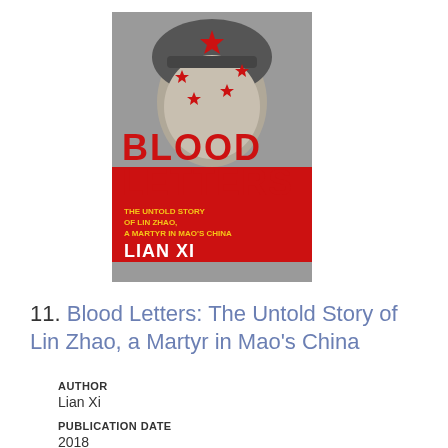[Figure (illustration): Book cover of 'Blood Letters: The Untold Story of Lin Zhao, a Martyr in Mao's China' by Lian Xi. Black and white photo of a woman's face overlaid with red stars. Title text in large red letters, subtitle in yellow, author name in white on red background.]
11. Blood Letters: The Untold Story of Lin Zhao, a Martyr in Mao's China
AUTHOR
Lian Xi
PUBLICATION DATE
2018